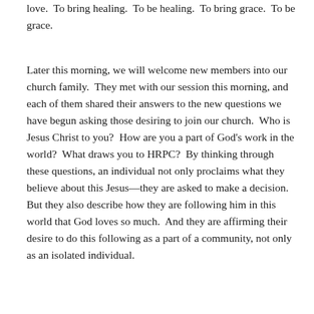love.  To bring healing.  To be healing.  To bring grace.  To be grace.
Later this morning, we will welcome new members into our church family.  They met with our session this morning, and each of them shared their answers to the new questions we have begun asking those desiring to join our church.  Who is Jesus Christ to you?  How are you a part of God's work in the world?  What draws you to HRPC?  By thinking through these questions, an individual not only proclaims what they believe about this Jesus—they are asked to make a decision.  But they also describe how they are following him in this world that God loves so much.  And they are affirming their desire to do this following as a part of a community, not only as an isolated individual.